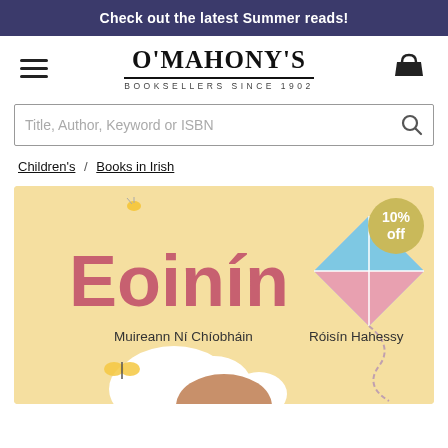Check out the latest Summer reads!
[Figure (logo): O'Mahony's Booksellers Since 1902 logo with hamburger menu icon and basket icon]
Title, Author, Keyword or ISBN
Children's / Books in Irish
[Figure (illustration): Book cover of 'Eoinin' by Muireann Ni Chiobhain and Roisin Hahessy, yellow background with large pink text title, cloud, butterfly, and a kite illustration. 10% off badge in top right corner.]